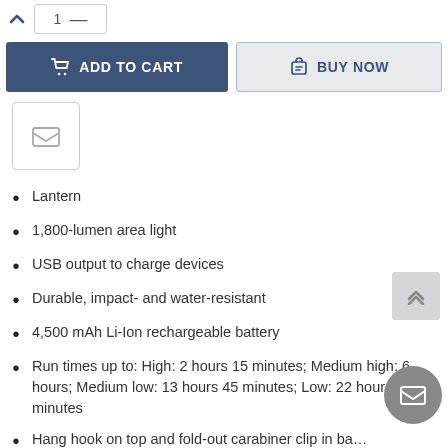[Figure (screenshot): Add to Cart and Buy Now buttons with quantity selector and wishlist icon]
Lantern
1,800-lumen area light
USB output to charge devices
Durable, impact- and water-resistant
4,500 mAh Li-Ion rechargeable battery
Run times up to: High: 2 hours 15 minutes; Medium high: 6 hours; Medium low: 13 hours 45 minutes; Low: 22 hours 45 minutes
Hang hook on top and fold-out carabiner clip in ba...